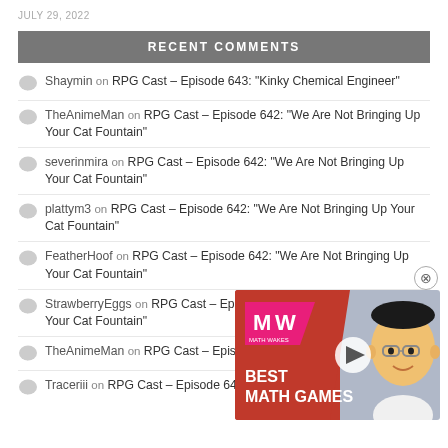JULY 29, 2022
RECENT COMMENTS
Shaymin on RPG Cast – Episode 643: “Kinky Chemical Engineer”
TheAnimeMan on RPG Cast – Episode 642: “We Are Not Bringing Up Your Cat Fountain”
severinmira on RPG Cast – Episode 642: “We Are Not Bringing Up Your Cat Fountain”
plattym3 on RPG Cast – Episode 642: “We Are Not Bringing Up Your Cat Fountain”
FeatherHoof on RPG Cast – Episode 642: “We Are Not Bringing Up Your Cat Fountain”
StrawberryEggs on RPG Cast – Episode 642: “We Are Not Bringing Up Your Cat Fountain”
TheAnimeMan on RPG Cast – Episode 641: “It’s a Vestigial Wheel”
Traceriii on RPG Cast – Episode 641: “It’s a Vestigial Wheel”
[Figure (other): Advertisement overlay showing MW logo, a cartoon character (Satoru Iwata caricature), play button, and text 'BEST MATH GAMES']